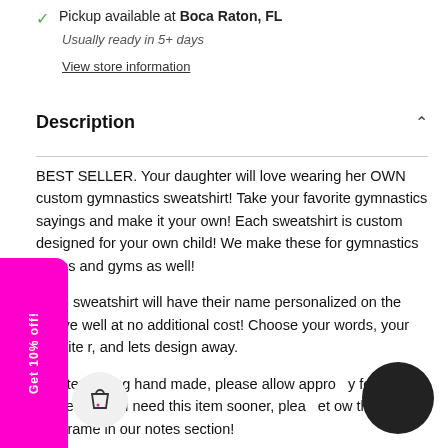Pickup available at Boca Raton, FL
Usually ready in 5+ days
View store information
Description
BEST SELLER. Your daughter will love wearing her OWN custom gymnastics sweatshirt! Take your favorite gymnastics sayings and make it your own! Each sweatshirt is custom designed for your own child! We make these for gymnastics teams and gyms as well!
Each sweatshirt will have their name personalized on the sleeve well at no additional cost! Choose your words, your favorite r, and lets design away.
ach item being hand made, please allow appro y for delivery. If you need this item sooner, plea et ow the timeframe in our notes section!